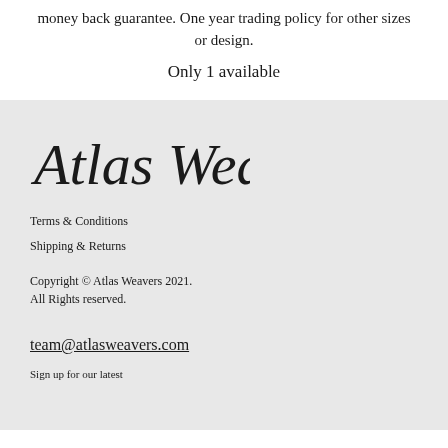money back guarantee. One year trading policy for other sizes or design.
Only 1 available
[Figure (logo): Atlas Weavers handwritten script logo]
Terms & Conditions
Shipping & Returns
Copyright © Atlas Weavers 2021.
All Rights reserved.
team@atlasweavers.com
Sign up for our latest...